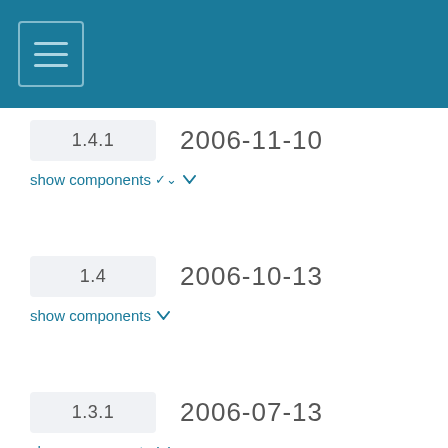≡
1.4.1    2006-11-10
show components ▾
1.4    2006-10-13
show components ▾
1.3.1    2006-07-13
show components ▾